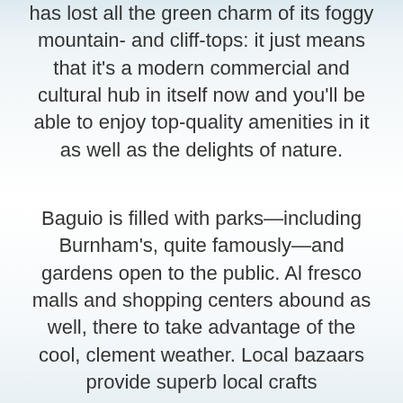has lost all the green charm of its foggy mountain- and cliff-tops: it just means that it’s a modern commercial and cultural hub in itself now and you’ll be able to enjoy top-quality amenities in it as well as the delights of nature.
Baguio is filled with parks—including Burnham’s, quite famously—and gardens open to the public. Al fresco malls and shopping centers abound as well, there to take advantage of the cool, clement weather. Local bazaars provide superb local crafts